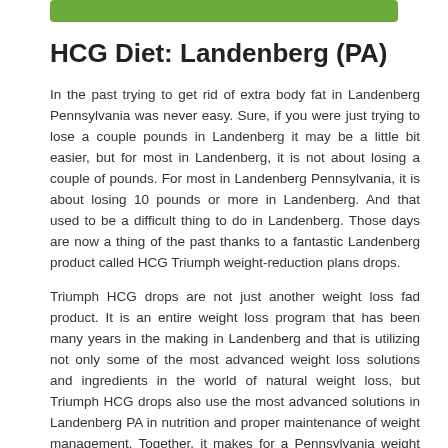[Figure (other): Green rounded rectangle decorative bar at top of page]
HCG Diet: Landenberg (PA)
In the past trying to get rid of extra body fat in Landenberg Pennsylvania was never easy. Sure, if you were just trying to lose a couple pounds in Landenberg it may be a little bit easier, but for most in Landenberg, it is not about losing a couple of pounds. For most in Landenberg Pennsylvania, it is about losing 10 pounds or more in Landenberg. And that used to be a difficult thing to do in Landenberg. Those days are now a thing of the past thanks to a fantastic Landenberg product called HCG Triumph weight-reduction plans drops.
Triumph HCG drops are not just another weight loss fad product. It is an entire weight loss program that has been many years in the making in Landenberg and that is utilizing not only some of the most advanced weight loss solutions and ingredients in the world of natural weight loss, but Triumph HCG drops also use the most advanced solutions in Landenberg PA in nutrition and proper maintenance of weight management. Together, it makes for a Pennsylvania weight loss program that is very effective and that is also incredibly quick in Landenberg. With the Triumph HCG Drops